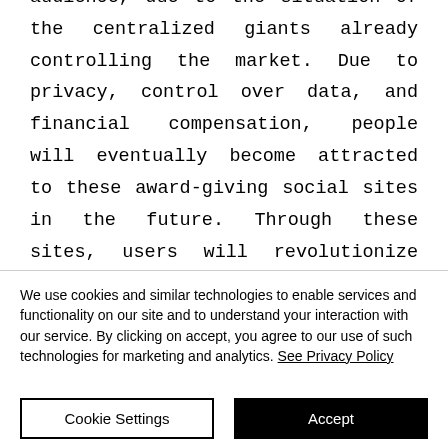audience, due to the situation of the centralized giants already controlling the market. Due to privacy, control over data, and financial compensation, people will eventually become attracted to these award-giving social sites in the future. Through these sites, users will revolutionize their growth by interacting with a pool of collective minds. However, a proper mechanism to
We use cookies and similar technologies to enable services and functionality on our site and to understand your interaction with our service. By clicking on accept, you agree to our use of such technologies for marketing and analytics. See Privacy Policy
Cookie Settings
Accept